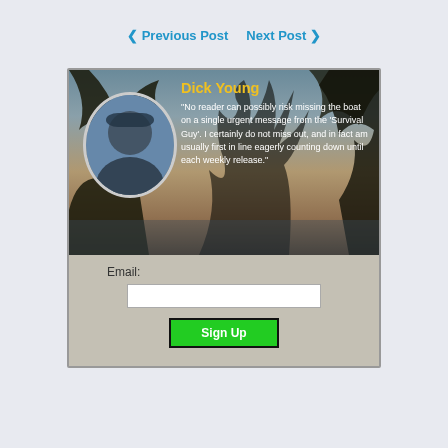◀ Previous Post    Next Post ▶
[Figure (photo): Testimonial card with a photo of Dick Young against a tropical beach background with palm trees. Name 'Dick Young' in yellow. Quote in white text about the Survival Guy newsletter.]
Email:
Sign Up